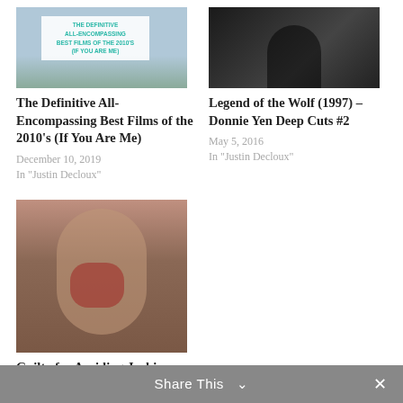[Figure (photo): Thumbnail image for 'The Definitive All-Encompassing Best Films of the 2010s (If You Are Me)' with text overlay on blue-grey background]
The Definitive All-Encompassing Best Films of the 2010's (If You Are Me)
December 10, 2019
In "Justin Decloux"
[Figure (photo): Dark thumbnail of a person's face for 'Legend of the Wolf (1997) – Donnie Yen Deep Cuts #2']
Legend of the Wolf (1997) – Donnie Yen Deep Cuts #2
May 5, 2016
In "Justin Decloux"
[Figure (photo): Thumbnail of a bloodied face (Jackie Chan) for 'Guilty for Avoiding Jackie Chan's CRIME STORY']
Guilty for Avoiding Jackie Chan's CRIME STORY
January 9, 2017
In "Justin Decloux"
Share This ∨  ✕